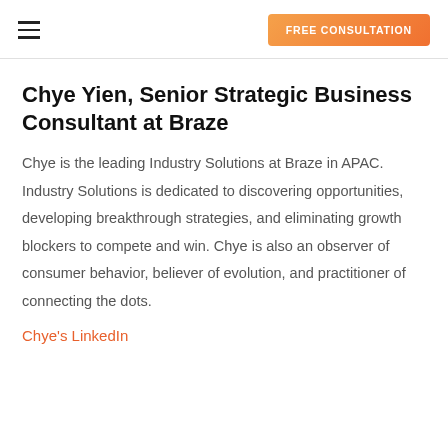FREE CONSULTATION
Chye Yien, Senior Strategic Business Consultant at Braze
Chye is the leading Industry Solutions at Braze in APAC. Industry Solutions is dedicated to discovering opportunities, developing breakthrough strategies, and eliminating growth blockers to compete and win. Chye is also an observer of consumer behavior, believer of evolution, and practitioner of connecting the dots.
Chye's LinkedIn